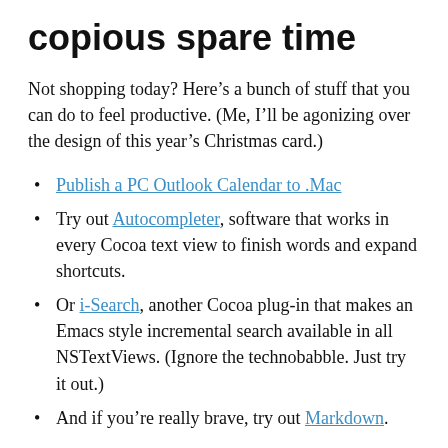copious spare time
Not shopping today? Here’s a bunch of stuff that you can do to feel productive. (Me, I’ll be agonizing over the design of this year’s Christmas card.)
Publish a PC Outlook Calendar to .Mac
Try out Autocompleter, software that works in every Cocoa text view to finish words and expand shortcuts.
Or i-Search, another Cocoa plug-in that makes an Emacs style incremental search available in all NSTextViews. (Ignore the technobabble. Just try it out.)
And if you’re really brave, try out Markdown.